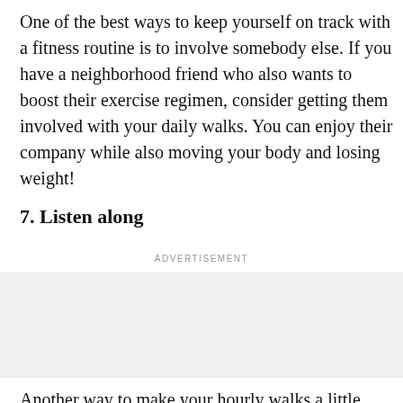One of the best ways to keep yourself on track with a fitness routine is to involve somebody else. If you have a neighborhood friend who also wants to boost their exercise regimen, consider getting them involved with your daily walks. You can enjoy their company while also moving your body and losing weight!
7. Listen along
ADVERTISEMENT
[Figure (other): Advertisement placeholder box with light gray background and SHUTTERSTOCK label]
Another way to make your hourly walks a little more